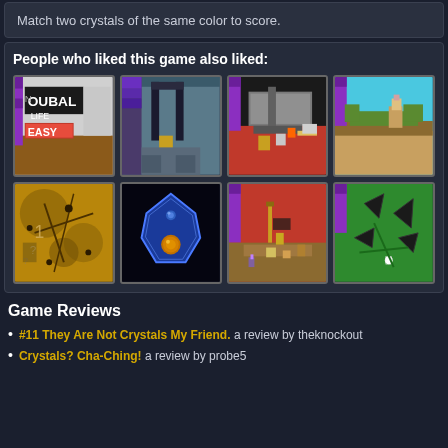Match two crystals of the same color to score.
People who liked this game also liked:
[Figure (screenshot): Grid of 8 retro pixel art game thumbnails showing various indie games]
Game Reviews
#11 They Are Not Crystals My Friend. a review by theknockout
Crystals? Cha-Ching! a review by probe5